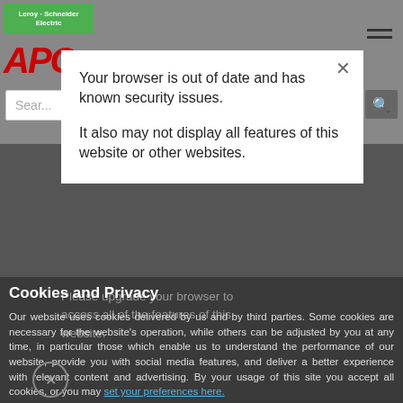[Figure (screenshot): APC by Schneider Electric website header with green Leroy Schneider banner, red APC logo, hamburger menu, and search bar on gray background]
Your browser is out of date and has known security issues.

It also may not display all features of this website or other websites.
Please upgrade your browser to access all of the features of this website.
Cookies and Privacy
Our website uses cookies delivered by us and by third parties. Some cookies are necessary for the website's operation, while others can be adjusted by you at any time, in particular those which enable us to understand the performance of our website, provide you with social media features, and deliver a better experience with relevant content and advertising. By your usage of this site you accept all cookies, or you may set your preferences here.